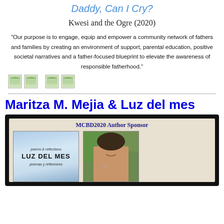Daddy, Can I Cry?
Kwesi and the Ogre (2020)
“Our purpose is to engage, equip and empower a community network of fathers and families by creating an environment of support, parental education, positive societal narratives and a father-focused blueprint to elevate the awareness of responsible fatherhood.”
[Figure (illustration): Four small image icons in a row]
Maritza M. Mejia & Luz del mes
[Figure (infographic): MCBD2020 Author Sponsor frame containing a book cover for 'LUZ DEL MES poems & reflections / poemas y reflexiones' and an author photo of a woman with dark hair]